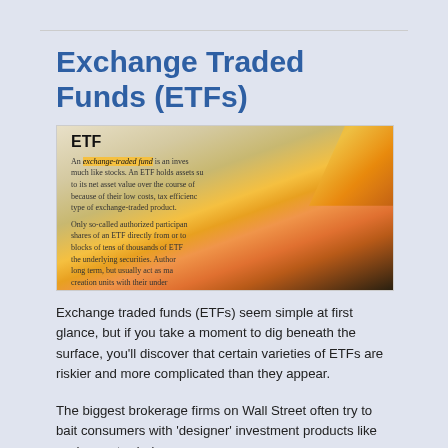Exchange Traded Funds (ETFs)
[Figure (photo): Close-up photo of a document defining ETF (Exchange-Traded Fund) with an orange highlighter pen highlighting the text 'exchange-traded fund'. The document text describes ETF characteristics including holding assets, net asset value, authorized participants, and underlying securities.]
Exchange traded funds (ETFs) seem simple at first glance, but if you take a moment to dig beneath the surface, you'll discover that certain varieties of ETFs are riskier and more complicated than they appear.
The biggest brokerage firms on Wall Street often try to bait consumers with 'designer' investment products like exchange traded